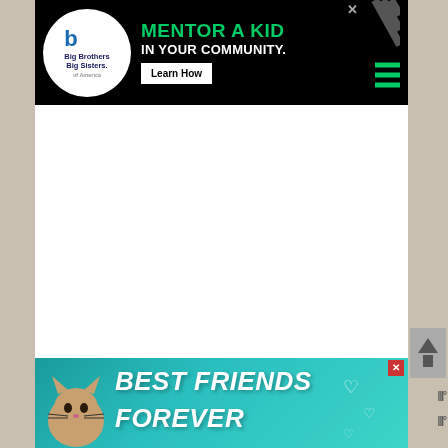[Figure (screenshot): Big Brothers Big Sisters advertisement banner: black background with white circular logo showing 'Big Brothers Big Sisters' text and a blue B letter, green text reading 'MENTOR A KID', white text 'IN YOUR COMMUNITY.', and a white 'Learn How' button. Decorative diagonal lines on the right side.]
[Figure (screenshot): Advertisement banner for pet product with teal/turquoise background. Features a cartoon cat image on the left, bold italic white text reading 'BEST FRIENDS FOREVER', heart decorations, and a red X close button in the upper right.]